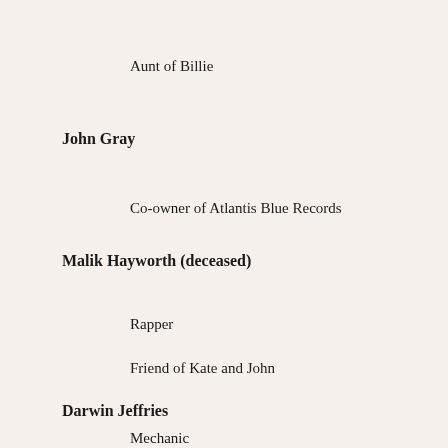Aunt of Billie
John Gray
Co-owner of Atlantis Blue Records
Malik Hayworth (deceased)
Rapper
Friend of Kate and John
Darwin Jeffries
Mechanic